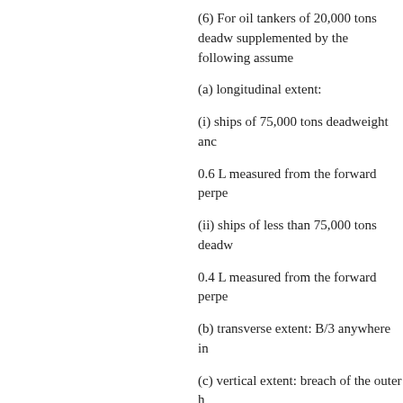(6) For oil tankers of 20,000 tons deadw supplemented by the following assume
(a) longitudinal extent:
(i) ships of 75,000 tons deadweight anc
0.6 L measured from the forward perpe
(ii) ships of less than 75,000 tons deadw
0.4 L measured from the forward perpe
(b) transverse extent: B/3 anywhere in
(c) vertical extent: breach of the outer h
(7) Oil tankers of less than 5,000 tons c
(a) at least be fitted with double bottom
(b) complies with the following: